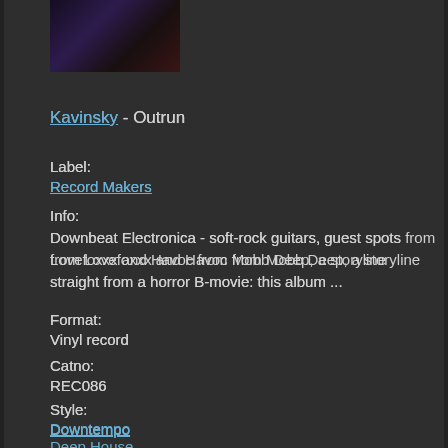[Figure (photo): Album cover photo, dark purple/red tones]
Kavinsky - Outrun
Label:
Record Makers
Info:
Downbeat Electronica - soft-rock guitars, guest spots from Lovefoxxx and Havoc from Mobb Deep, a storyline straight from a horror B-movie: this album ...
Format:
Vinyl record
Catno:
REC086
Style:
Downtempo
Deep House
Electronica
Vinyl record condition:
Media: